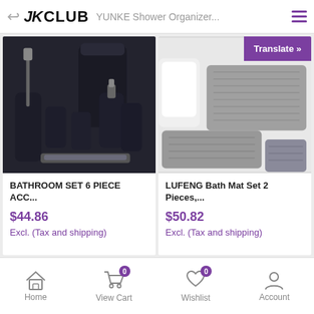JK CLUB  YUNKE Shower Organizer...
[Figure (photo): Dark navy/black bathroom accessory set with toilet brush, trash can, soap dispenser, toothbrush holder, and cup]
[Figure (photo): Gray chenille bath mat set with two pieces on bathroom floor near toilet]
BATHROOM SET 6 PIECE ACC...
$44.86
Excl. (Tax and shipping)
LUFENG Bath Mat Set 2 Pieces,...
$50.82
Excl. (Tax and shipping)
Home  View Cart 0  Wishlist 0  Account